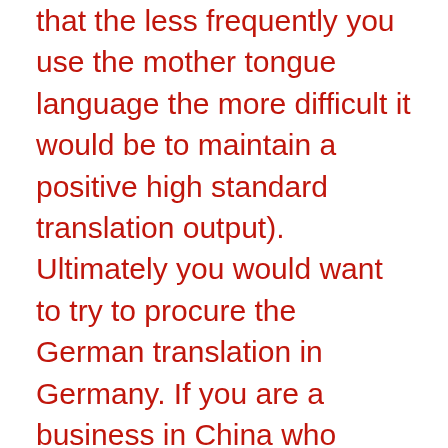that the less frequently you use the mother tongue language the more difficult it would be to maintain a positive high standard translation output). Ultimately you would want to try to procure the German translation in Germany. If you are a business in China who wants to buy German translation, you want to make sure that your translation service provider in China is using Translators who are in Germany. For that you need to understand that the translation in Germany would be higher cost then let’s say Chinese translation done in China, why? Because, translation like any other service it depends on 2 factors: A) Cost of living where translation is being done, and B) supply and demand factor, how many “Qualified” Translators are available for this particular language. Another example if you need a translation agency for your office in New York, would you be sourcing this service from India? Maybe but here we would then want to find...